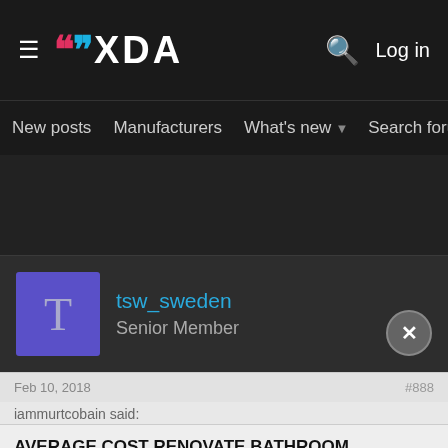[Figure (screenshot): XDA Developers forum website screenshot showing navigation bar with XDA logo, hamburger menu, search icon, Log in button, secondary navigation with New posts, Manufacturers, What's new, Search forums, Members, a user profile section for tsw_sweden (Senior Member) with purple avatar, post date Feb 10, 2018, and an advertisement banner for AVERAGE COST RENOVATE BATHROOM from An AMG Site]
XDA — Log in
New posts  Manufacturers  What's new  Search forums  Membe
tsw_sweden
Senior Member
Feb 10, 2018
iammurtcobain said:
AVERAGE COST RENOVATE BATHROOM
Ad | An AMG Site